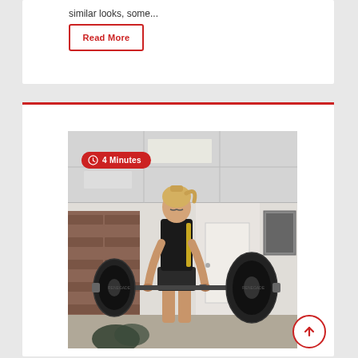similar looks, some...
Read More
[Figure (photo): A woman in athletic wear performing a deadlift with a heavy barbell in a gym setting. She is wearing a dark sleeveless top and shorts, with blonde hair in a ponytail. The gym has brick walls and ceiling tiles visible in the background. A time badge reading '4 Minutes' with a clock icon overlays the top-left of the image.]